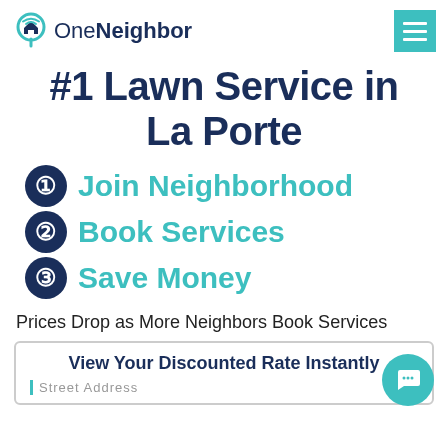OneNeighbor
#1 Lawn Service in La Porte
1 Join Neighborhood
2 Book Services
3 Save Money
Prices Drop as More Neighbors Book Services
View Your Discounted Rate Instantly
Street Address